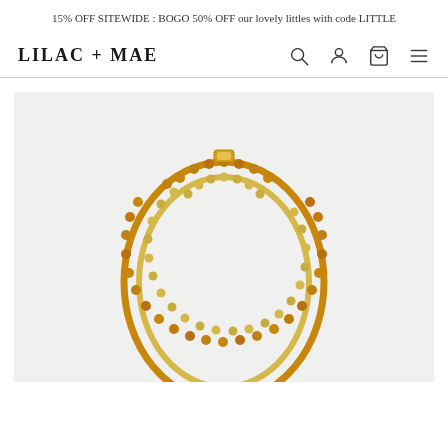15% OFF SITEWIDE : BOGO 50% OFF our lovely littles with code LITTLE
LILAC + MAE
[Figure (photo): Amber bead bracelet on a light gray background, showing two strands of small golden/honey-colored amber beads with a clasp at the top center.]